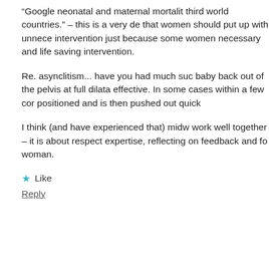“Google neonatal and maternal mortality third world countries.” – this is a very de that women should put up with unnece intervention just because some women necessary and life saving intervention.
Re. asynclitism... have you had much suc baby back out of the pelvis at full dilata effective. In some cases within a few cor positioned and is then pushed out quick
I think (and have experienced that) midw work well together – it is about respect expertise, reflecting on feedback and fo woman.
Like
Reply